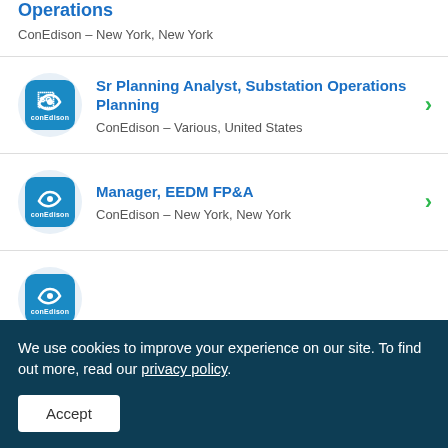Operations
ConEdison – New York, New York
Sr Planning Analyst, Substation Operations Planning
ConEdison – Various, United States
Manager, EEDM FP&A
ConEdison – New York, New York
We use cookies to improve your experience on our site. To find out more, read our privacy policy.
Accept